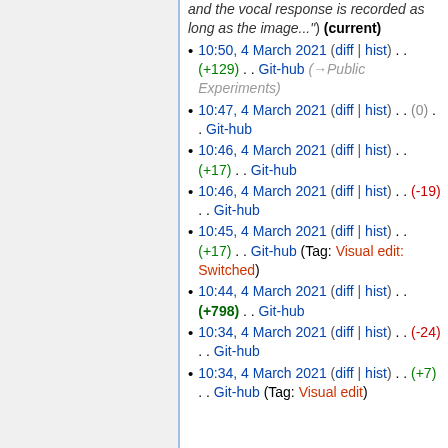and the vocal response is recorded as long as the image...") (current)
10:50, 4 March 2021 (diff | hist) . . (+129) . . Git-hub (→Public Experiments)
10:47, 4 March 2021 (diff | hist) . . (0) . . Git-hub
10:46, 4 March 2021 (diff | hist) . . (+17) . . Git-hub
10:46, 4 March 2021 (diff | hist) . . (-19) . . Git-hub
10:45, 4 March 2021 (diff | hist) . . (+17) . . Git-hub (Tag: Visual edit: Switched)
10:44, 4 March 2021 (diff | hist) . . (+798) . . Git-hub
10:34, 4 March 2021 (diff | hist) . . (-24) . . Git-hub
10:34, 4 March 2021 (diff | hist) . . (+7) . . Git-hub (Tag: Visual edit)